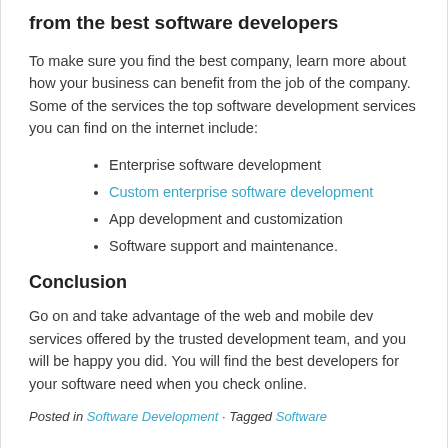from the best software developers
To make sure you find the best company, learn more about how your business can benefit from the job of the company. Some of the services the top software development services you can find on the internet include:
Enterprise software development
Custom enterprise software development
App development and customization
Software support and maintenance.
Conclusion
Go on and take advantage of the web and mobile dev services offered by the trusted development team, and you will be happy you did. You will find the best developers for your software need when you check online.
Posted in Software Development · Tagged Software